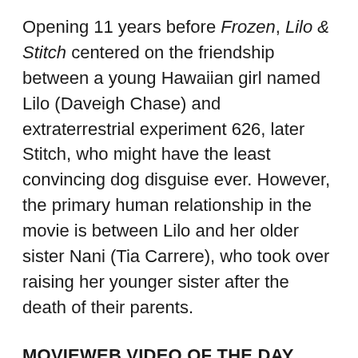Opening 11 years before Frozen, Lilo & Stitch centered on the friendship between a young Hawaiian girl named Lilo (Daveigh Chase) and extraterrestrial experiment 626, later Stitch, who might have the least convincing dog disguise ever. However, the primary human relationship in the movie is between Lilo and her older sister Nani (Tia Carrere), who took over raising her younger sister after the death of their parents.
MOVIEWEB VIDEO OF THE DAY
Of course, both films do feature romantic sub-plots. Princess Anna (Kristen Bell) catches the eye of two different men, Hans (Sontanio Fontana) and Kristoff (brother Groff). Nani also...